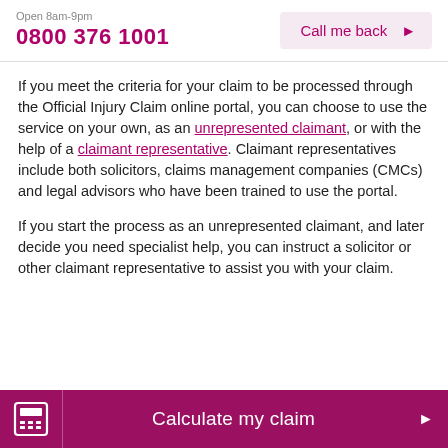Open 8am-9pm
0800 376 1001
Call me back
If you meet the criteria for your claim to be processed through the Official Injury Claim online portal, you can choose to use the service on your own, as an unrepresented claimant, or with the help of a claimant representative. Claimant representatives include both solicitors, claims management companies (CMCs) and legal advisors who have been trained to use the portal.
If you start the process as an unrepresented claimant, and later decide you need specialist help, you can instruct a solicitor or other claimant representative to assist you with your claim.
Calculate my claim